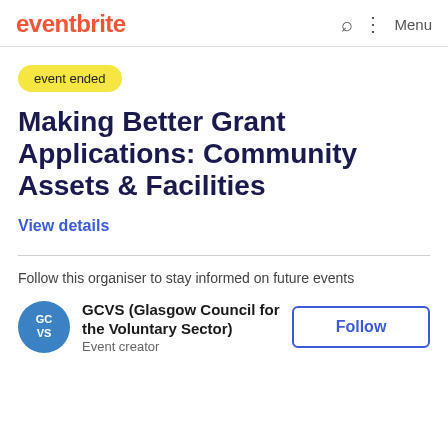eventbrite — Menu
event ended
Making Better Grant Applications: Community Assets & Facilities
View details
Follow this organiser to stay informed on future events
GCVS (Glasgow Council for the Voluntary Sector)
Event creator
Follow